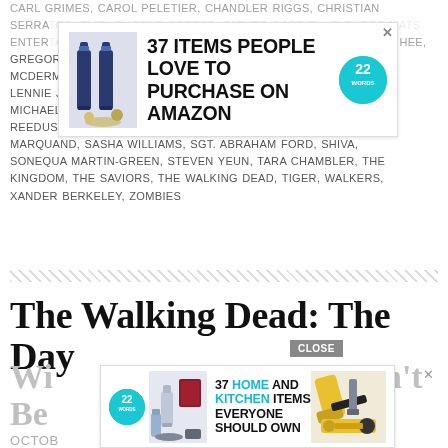CARL GRIMES, CAROL PELETIER, CHANDLER RIGGS, CHRISTIAN SERRATOS, ENID, EUGENE PORTER, FATHER GABRIEL, KHARY PAYTON, ELENORE MATSUURA, GREGORY, JEFFREY DEAN MORGAN, JESUS: TOM PAYNE, JOSH MCDERMITT, KING EZEKIEL, LADY COCOTTE, LAUREN COHAN, LENNIE JAMES, LUCILLE, MAGGIE GREENE, MELISSA MCBRIDE, MICHAEL CUDLITZ, MICHONNE, MORGAN JONES, NEGAN, NORMAN REEDUS, RECAP, RICK GRIMES, ROSITA ESPINOSA, ROSS MARQUAND, SASHA WILLIAMS, SGT. ABRAHAM FORD, SHIVA, SONEQUA MARTIN-GREEN, STEVEN YEUN, TARA CHAMBLER, THE KINGDOM, THE SAVIORS, THE WALKING DEAD, TIGER, WALKERS, XANDER BERKELEY, ZOMBIES
[Figure (other): Advertisement banner: 37 ITEMS PEOPLE LOVE TO PURCHASE ON AMAZON with 22 Words logo and product images]
The Walking Dead: The Day Will Come When You Won't Be...
[Figure (other): Advertisement banner: 37 HOME AND KITCHEN ITEMS EVERYONE SHOULD OWN with 22 Words logo, product images including tools]
OCTOB...